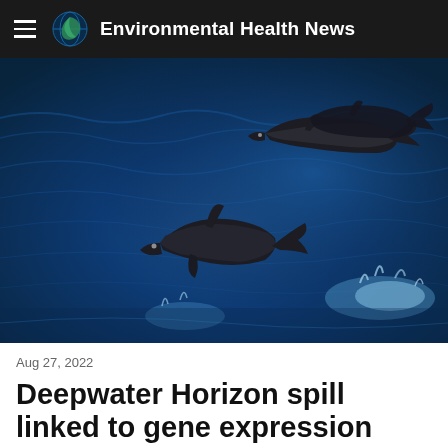Environmental Health News
[Figure (photo): Three dolphins leaping out of deep blue ocean water, photographed in action with splashing water around them.]
Aug 27, 2022
Deepwater Horizon spill linked to gene expression changes in